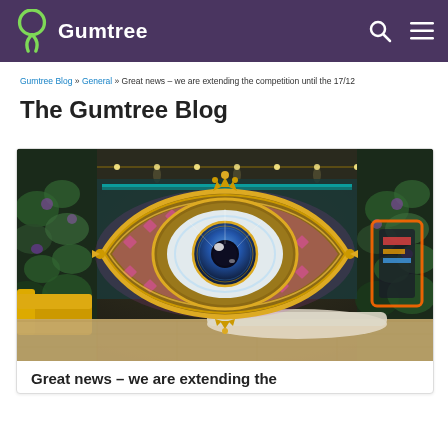Gumtree
Gumtree Blog » General » Great news – we are extending the competition until the 17/12
The Gumtree Blog
[Figure (photo): Big Brother eye logo overlaid on a colorful modern living room set with yellow sofas, green plant wall, and decorative lights]
Great news – we are extending the